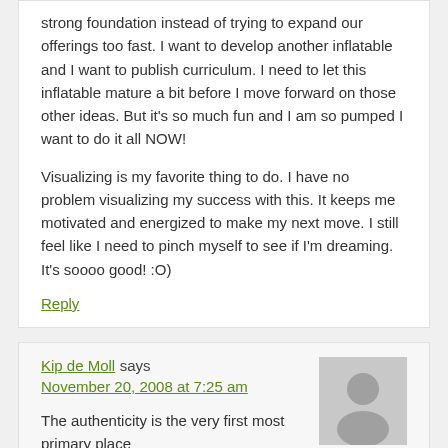strong foundation instead of trying to expand our offerings too fast. I want to develop another inflatable and I want to publish curriculum. I need to let this inflatable mature a bit before I move forward on those other ideas. But it's so much fun and I am so pumped I want to do it all NOW!
Visualizing is my favorite thing to do. I have no problem visualizing my success with this. It keeps me motivated and energized to make my next move. I still feel like I need to pinch myself to see if I'm dreaming. It's soooo good! :O)
Reply
Kip de Moll says
November 20, 2008 at 7:25 am
The authenticity is the very first most primary place